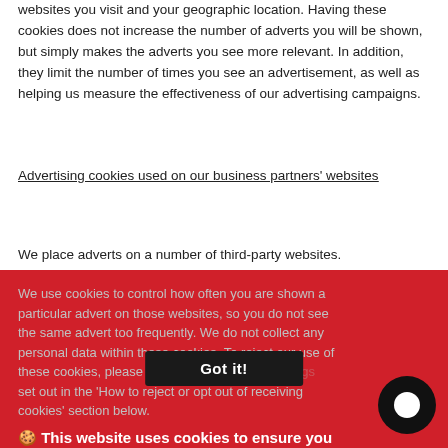websites you visit and your geographic location. Having these cookies does not increase the number of adverts you will be shown, but simply makes the adverts you see more relevant. In addition, they limit the number of times you see an advertisement, as well as helping us measure the effectiveness of our advertising campaigns.
Advertising cookies used on our business partners' websites
We place adverts on a number of third-party websites.
We use cookies to control how often you are shown a particular advert on those websites, so you do not see the same advert too frequently. We do not collect any personal data within these cookies. To reject our use of these cookies, please refer to your browser settings set out in the 'How to reject or opt out of receiving cookies' section below.
🍪 This website uses cookies to ensure you get the best experience on our website.
Learn more
Got it!